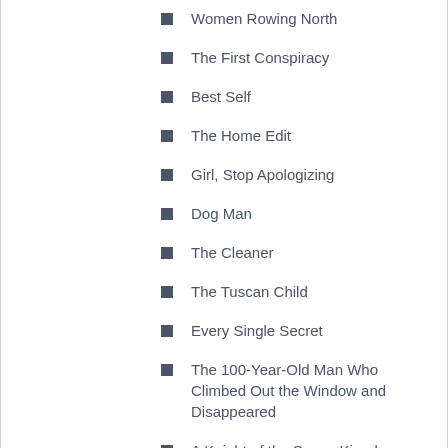Women Rowing North
The First Conspiracy
Best Self
The Home Edit
Girl, Stop Apologizing
Dog Man
The Cleaner
The Tuscan Child
Every Single Secret
The 100-Year-Old Man Who Climbed Out the Window and Disappeared
A Knight of the Seven Kingdoms
Smoke and Summons
The Forgotten Hours
The Snow Gypsy
The Killer Collective